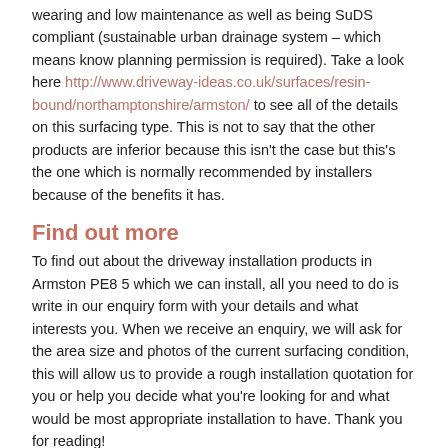wearing and low maintenance as well as being SuDS compliant (sustainable urban drainage system – which means know planning permission is required). Take a look here http://www.driveway-ideas.co.uk/surfaces/resin-bound/northamptonshire/armston/ to see all of the details on this surfacing type. This is not to say that the other products are inferior because this isn't the case but this's the one which is normally recommended by installers because of the benefits it has.
Find out more
To find out about the driveway installation products in Armston PE8 5 which we can install, all you need to do is write in our enquiry form with your details and what interests you. When we receive an enquiry, we will ask for the area size and photos of the current surfacing condition, this will allow us to provide a rough installation quotation for you or help you decide what you're looking for and what would be most appropriate installation to have. Thank you for reading!
Other Driveway Services We Offer